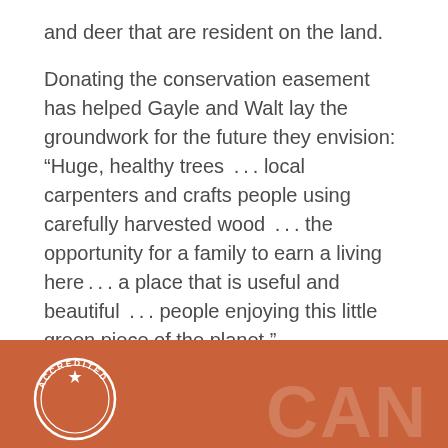and deer that are resident on the land.
Donating the conservation easement has helped Gayle and Walt lay the groundwork for the future they envision: “Huge, healthy trees  . . . local carpenters and crafts people using carefully harvested wood  . . . the opportunity for a family to earn a living here . . . a place that is useful and beautiful  . .  people enjoying this little green piece of the planet.”
[Figure (logo): Orange footer bar with an accredited seal/badge on the left and large faded 'CAN' letters on the right]